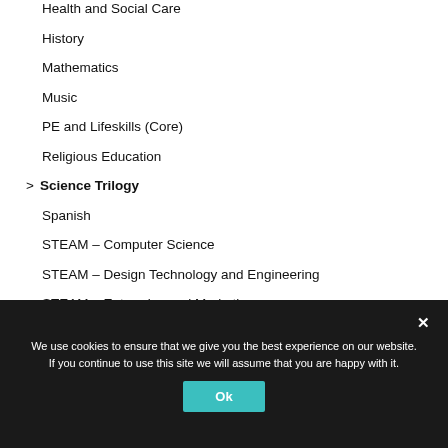Health and Social Care
History
Mathematics
Music
PE and Lifeskills (Core)
Religious Education
> Science Trilogy
Spanish
STEAM – Computer Science
STEAM – Design Technology and Engineering
STEAM – Enterprise and Marketing
We use cookies to ensure that we give you the best experience on our website. If you continue to use this site we will assume that you are happy with it.